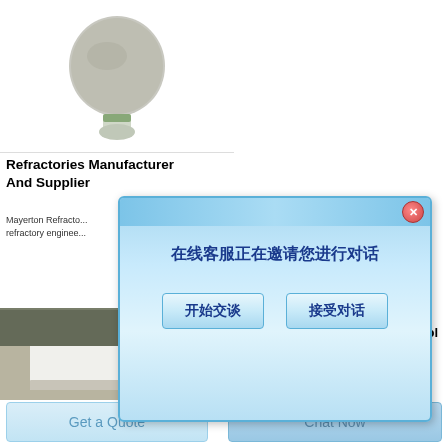[Figure (photo): A vase-shaped container filled with gray/green powder or granular refractory material]
Refractories Manufacturer And Supplier
Mayerton Refracto... refractory enginee...
[Figure (screenshot): Chinese chat popup dialog. Text reads: 在线客服正在邀请您进行对话 with two buttons: 开始交谈 and 接受对话]
[Figure (photo): A white refractory brick or insulation board on a brown/grey surface in an industrial setting]
BALLOT Refractory Installation Quality Control Inspection
Manufacturers and users are
Get a Quote
Chat Now